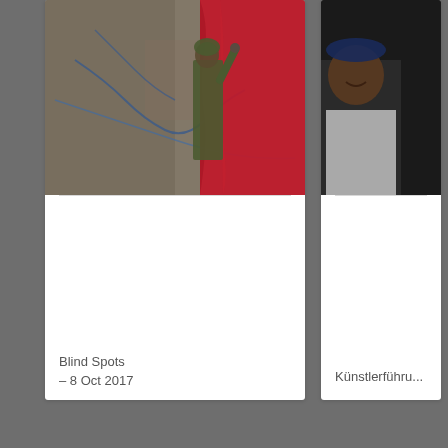[Figure (photo): Partial view of a card showing a photo of a soldier in camouflage gear holding red fabric/curtain, with a map visible in the background]
Blind Spots
– 8 Oct 2017
[Figure (photo): Partial view of a second card showing a dark photo, partially cropped on the right side, with a person partially visible]
Künstlerführu...